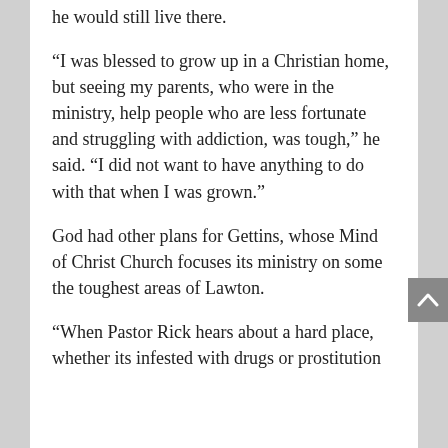he would still live there.
“I was blessed to grow up in a Christian home, but seeing my parents, who were in the ministry, help people who are less fortunate and struggling with addiction, was tough,” he said. “I did not want to have anything to do with that when I was grown.”
God had other plans for Gettins, whose Mind of Christ Church focuses its ministry on some the toughest areas of Lawton.
“When Pastor Rick hears about a hard place, whether its infested with drugs or prostitution